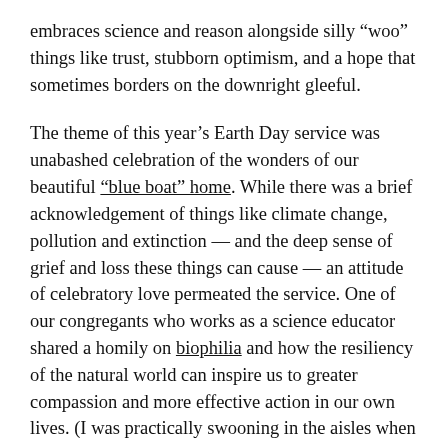embraces science and reason alongside silly “woo” things like trust, stubborn optimism, and a hope that sometimes borders on the downright gleeful.
The theme of this year’s Earth Day service was unabashed celebration of the wonders of our beautiful “blue boat” home. While there was a brief acknowledgement of things like climate change, pollution and extinction — and the deep sense of grief and loss these things can cause — an attitude of celebratory love permeated the service. One of our congregants who works as a science educator shared a homily on biophilia and how the resiliency of the natural world can inspire us to greater compassion and more effective action in our own lives. (I was practically swooning in the aisles when she opened with a story about the symbiotic relationship between sapsuckers and rufous hummingbirds, followed with a quote from E.O. Wilson. Yes! I got to go to a church where this is a homily that happened!)